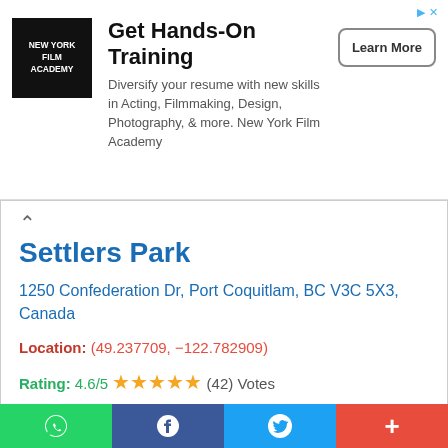[Figure (screenshot): Advertisement banner for New York Film Academy with logo, headline 'Get Hands-On Training', description text, and Learn More button]
Settlers Park
1250 Confederation Dr, Port Coquitlam, BC V3C 5X3, Canada
Location: (49.237709, −122.782909)
Rating: 4.6/5 ★★★★★ (42) Votes
CONTACT DETAILS
[Figure (map): Google Maps screenshot showing location of ATI-Netwks Services Ltd near Settlers Park in Port Coquitlam, BC, with Lincoln Ave visible]